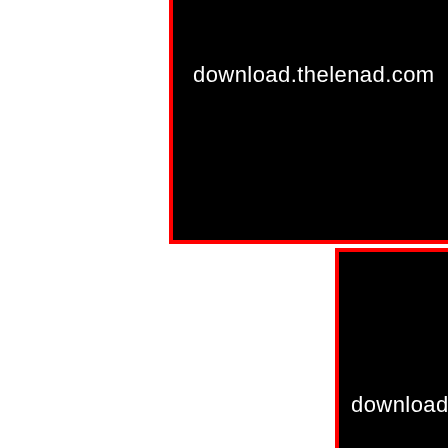[Figure (other): Graphic design layout with white background and two black rectangles bordered in red. Top-right black block contains text 'download.thelenad.com' in white. Bottom-right black block partially shows text 'download.' in white. Red borders separate the blocks from the white space.]